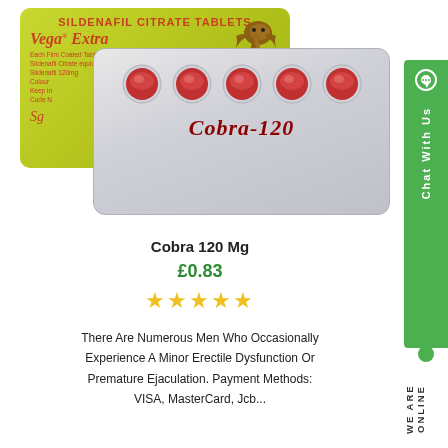[Figure (photo): Product photo of Cobra 120 Mg sildenafil citrate tablet blister pack. Front pack labeled 'Cobra-120' with five round red pills visible. Behind it is a yellow-green Vega Extra blister pack with cobra snake image.]
Cobra 120 Mg
£0.83
★★★★★
There Are Numerous Men Who Occasionally Experience A Minor Erectile Dysfunction Or Premature Ejaculation. Payment Methods: VISA, MasterCard, Jcb...